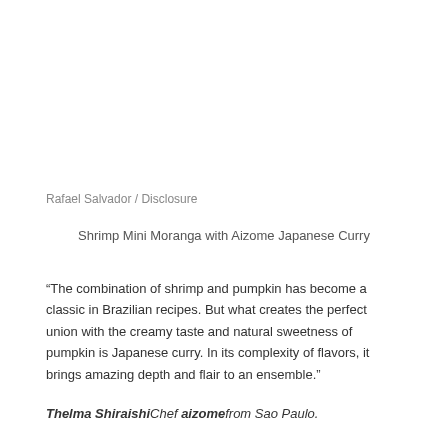Rafael Salvador / Disclosure
Shrimp Mini Moranga with Aizome Japanese Curry
“The combination of shrimp and pumpkin has become a classic in Brazilian recipes. But what creates the perfect union with the creamy taste and natural sweetness of pumpkin is Japanese curry. In its complexity of flavors, it brings amazing depth and flair to an ensemble.”
Thelma ShiraishiChef aizomefrom Sao Paulo.